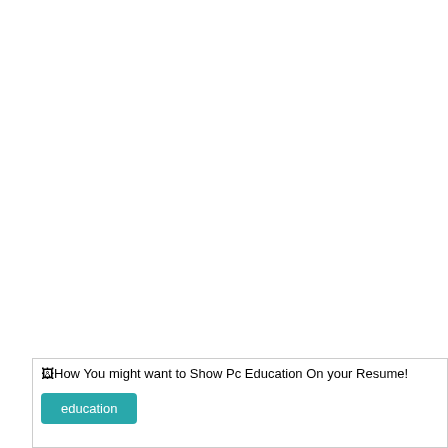[Figure (other): Broken image placeholder with alt text: 'How You might want to Show Pc Education On your Resume!' followed by a teal 'education' tag button]